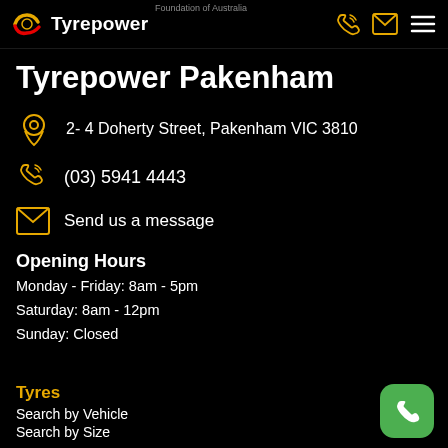Foundation of Australia | Tyrepower
Tyrepower Pakenham
2- 4 Doherty Street, Pakenham VIC 3810
(03) 5941 4443
Send us a message
Opening Hours
Monday - Friday: 8am - 5pm
Saturday: 8am - 12pm
Sunday: Closed
Tyres
Search by Vehicle
Search by Size